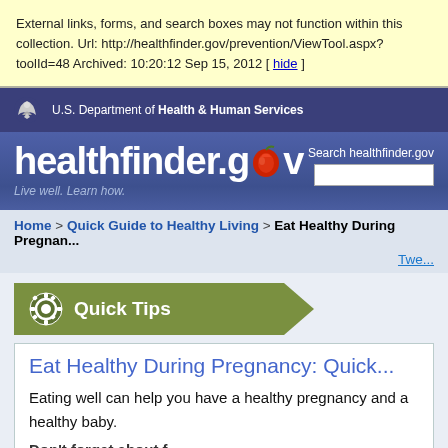External links, forms, and search boxes may not function within this collection. Url: http://healthfinder.gov/prevention/ViewTool.aspx?toolId=48 Archived: 10:20:12 Sep 15, 2012 [ hide ]
U.S. Department of Health & Human Services
[Figure (logo): healthfinder.gov logo with red apple replacing the 'o', tagline: Live well. Learn how. Search healthfinder.gov box on right.]
Home > Quick Guide to Healthy Living > Eat Healthy During Pregnan...
Twe...
Quick Tips
Eat Healthy During Pregnancy: Quick...
Eating well can help you have a healthy pregnancy and a healthy baby.
Don't forget about f...